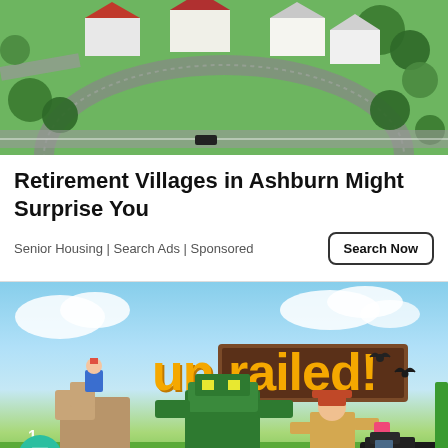[Figure (photo): Aerial view of a suburban neighborhood with houses, curved roads, and green trees]
Retirement Villages in Ashburn Might Surprise You
Senior Housing | Search Ads | Sponsored
[Figure (screenshot): Game advertisement screenshot for 'Unrailed!' showing blocky 3D characters including animals and a train in a colorful environment with a chat bubble UI element and badge number 1]